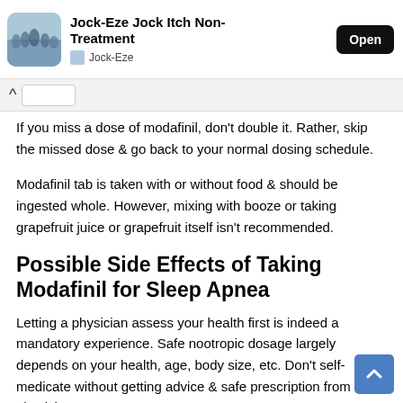Jock-Eze Non-Treatment | Open
If you miss a dose of modafinil, don't double it. Rather, skip the missed dose & go back to your normal dosing schedule.
Modafinil tab is taken with or without food & should be ingested whole. However, mixing with booze or taking grapefruit juice or grapefruit itself isn't recommended.
Possible Side Effects of Taking Modafinil for Sleep Apnea
Letting a physician assess your health first is indeed a mandatory experience. Safe nootropic dosage largely depends on your health, age, body size, etc. Don't self-medicate without getting advice & safe prescription from a physician.